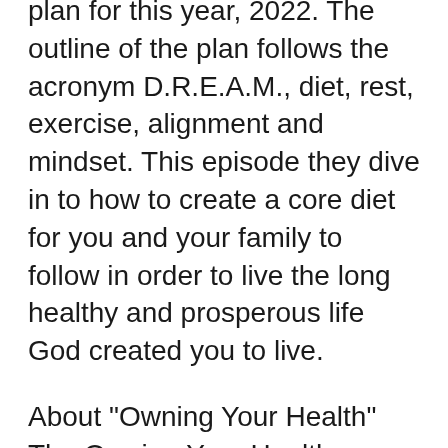plan for this year, 2022. The outline of the plan follows the acronym D.R.E.A.M., diet, rest, exercise, alignment and mindset. This episode they dive in to how to create a core diet for you and your family to follow in order to live the long healthy and prosperous life God created you to live.
About "Owning Your Health"
The Owning Your Health crew has changed. Dr. Kyle, Jonathon Rape and Robert Horneman found they were not able to get the time together to record so we decided to change it up. Dr. Kyle has been asking his BRILLIANT wife Dr. Holly Loveless to do a show with him for quite some time. Finally, the stars aligned. Dr. Holly is pregnant with their 3rd child, she has been inspired by